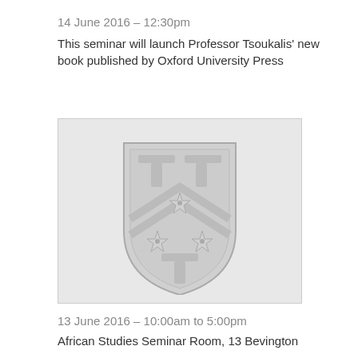14 June 2016 – 12:30pm
This seminar will launch Professor Tsoukalis' new book published by Oxford University Press
[Figure (logo): A heraldic shield/coat of arms in light grey tones featuring two T-shaped symbols at the top, a chevron with three six-pointed stars, and one T-shaped symbol at the bottom. The shield is set against a light grey rectangular background.]
13 June 2016 – 10:00am to 5:00pm
African Studies Seminar Room, 13 Bevington